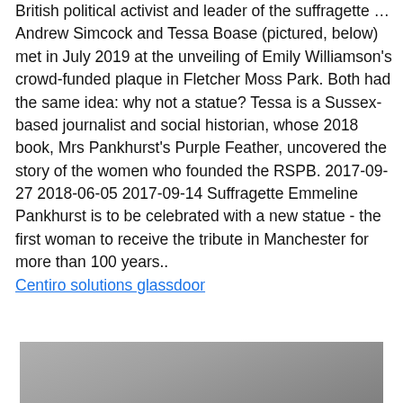British political activist and leader of the suffragette … Andrew Simcock and Tessa Boase (pictured, below) met in July 2019 at the unveiling of Emily Williamson's crowd-funded plaque in Fletcher Moss Park. Both had the same idea: why not a statue? Tessa is a Sussex-based journalist and social historian, whose 2018 book, Mrs Pankhurst's Purple Feather, uncovered the story of the women who founded the RSPB. 2017-09-27 2018-06-05 2017-09-14 Suffragette Emmeline Pankhurst is to be celebrated with a new statue - the first woman to receive the tribute in Manchester for more than 100 years..
Centiro solutions glassdoor
[Figure (photo): Partial view of a grey/silver photograph or image, cropped at the bottom of the page]